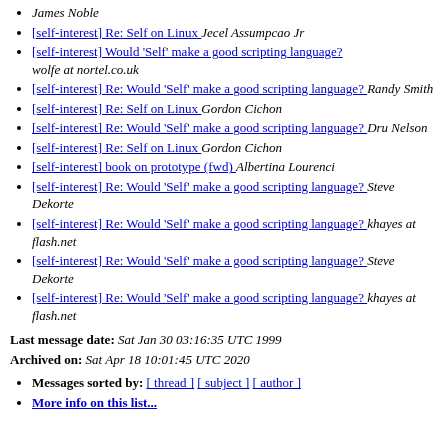James Noble
[self-interest] Re: Self on Linux  Jecel Assumpcao Jr
[self-interest] Would 'Self' make a good scripting language?  wolfe at nortel.co.uk
[self-interest] Re: Would 'Self' make a good scripting language?  Randy Smith
[self-interest] Re: Self on Linux  Gordon Cichon
[self-interest] Re: Would 'Self' make a good scripting language?  Dru Nelson
[self-interest] Re: Self on Linux  Gordon Cichon
[self-interest] book on prototype (fwd)  Albertina Lourenci
[self-interest] Re: Would 'Self' make a good scripting language?  Steve Dekorte
[self-interest] Re: Would 'Self' make a good scripting language?  khayes at flash.net
[self-interest] Re: Would 'Self' make a good scripting language?  Steve Dekorte
[self-interest] Re: Would 'Self' make a good scripting language?  khayes at flash.net
Last message date: Sat Jan 30 03:16:35 UTC 1999
Archived on: Sat Apr 18 10:01:45 UTC 2020
Messages sorted by: [ thread ] [ subject ] [ author ]
More info on this list...